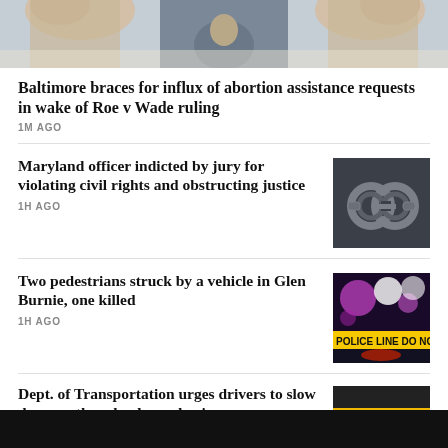[Figure (photo): Top photo showing hands raised, crowd scene, protest related to abortion rights]
Baltimore braces for influx of abortion assistance requests in wake of Roe v Wade ruling
1M AGO
Maryland officer indicted by jury for violating civil rights and obstructing justice
1H AGO
[Figure (photo): Handcuffs on dark background]
Two pedestrians struck by a vehicle in Glen Burnie, one killed
1H AGO
[Figure (photo): Police lights with Police Line Do Not Cross tape]
Dept. of Transportation urges drivers to slow down as the school year begins
[Figure (photo): School bus with STOP sign]